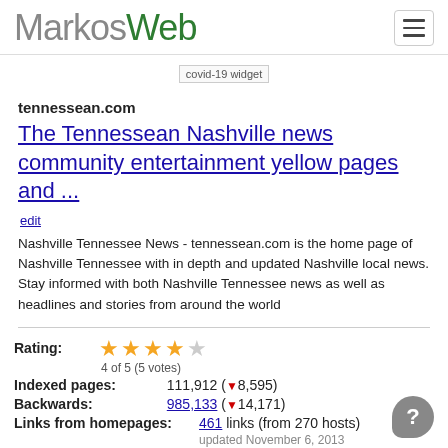MarkosWeb
[Figure (other): covid-19 widget placeholder image]
tennessean.com
The Tennessean Nashville news community entertainment yellow pages and ...
edit
Nashville Tennessee News - tennessean.com is the home page of Nashville Tennessee with in depth and updated Nashville local news. Stay informed with both Nashville Tennessee news as well as headlines and stories from around the world
Rating: 4 of 5 (5 votes)
Indexed pages: 111,912 (▼8,595)
Backwards: 985,133 (▼14,171)
Links from homepages: 461 links (from 270 hosts) updated November 6, 2013